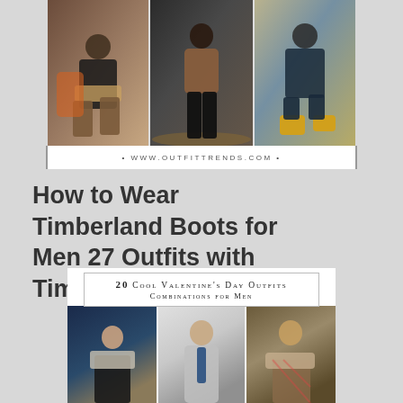[Figure (photo): Collage of three photos showing men wearing Timberland boots with various outfits: left - man seated in patterned chair with dark sweater and boots, center - man in brown suede jacket with dark jeans and boots on autumn street, right - man seated outdoors in navy outfit with yellow Timberland boots]
• WWW.OUTFITTRENDS.COM •
How to Wear Timberland Boots for Men 27 Outfits with Timberland
[Figure (photo): Second article thumbnail showing '20 Cool Valentine's Day Outfits Combinations for Men' with three men in stylish outfits: left - man with scarf, center - man in grey suit with tie, right - man in plaid scarf and coat]